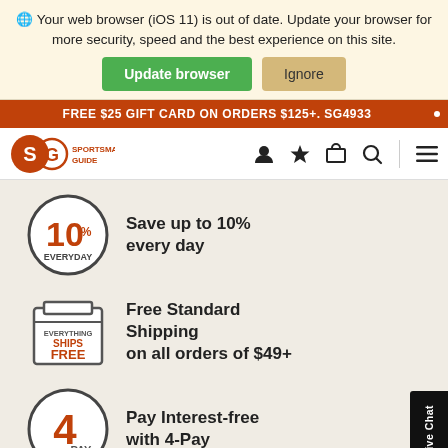🌐 Your web browser (iOS 11) is out of date. Update your browser for more security, speed and the best experience on this site.
Update browser | Ignore
FREE $25 GIFT CARD ON ORDERS $125+. SG4933
[Figure (logo): Sportsman's Guide logo with SG letters in orange and deer icon, brand name SPORTSMAN'S GUIDE]
Save up to 10% every day
Free Standard Shipping on all orders of $49+
Pay Interest-free with 4-Pay